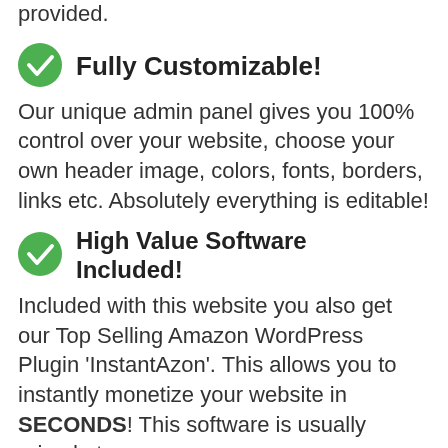provided.
Fully Customizable! Our unique admin panel gives you 100% control over your website, choose your own header image, colors, fonts, borders, links etc. Absolutely everything is editable!
High Value Software Included! Included with this website you also get our Top Selling Amazon WordPress Plugin 'InstantAzon'. This allows you to instantly monetize your website in SECONDS! This software is usually priced at